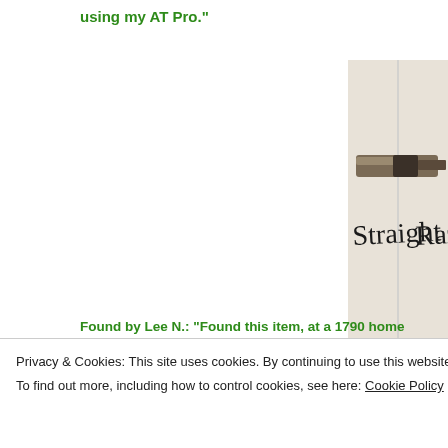using my AT Pro."
[Figure (photo): A close-up photo of a rusted/corroded old straight razor lying on a white cloth or paper towel. The label 'Straight Raz' (Straight Razor, partially visible) is handwritten on the white surface.]
Found by Lee N.:  "Found this item, at a 1790 home site. Found 6 inc
Privacy & Cookies: This site uses cookies. By continuing to use this website, you agree to their use.
To find out more, including how to control cookies, see here: Cookie Policy
Close and accept